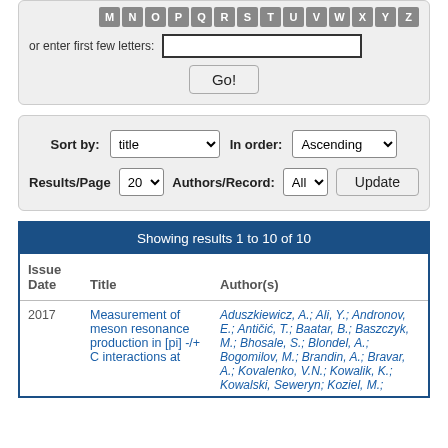[Figure (screenshot): Search interface with letter buttons (M N O P Q R S T U V W X Y Z), 'or enter first few letters:' text input field, and a Go! button]
[Figure (screenshot): Sort/filter controls: Sort by title dropdown, In order Ascending dropdown, Results/Page 20 dropdown, Authors/Record All dropdown, Update button]
| Issue Date | Title | Author(s) |
| --- | --- | --- |
| 2017 | Measurement of meson resonance production in [pi] -/+ C interactions at | Aduszkiewicz, A.; Ali, Y.; Andronov, E.; Antičić, T.; Baatar, B.; Baszczyk, M.; Bhosale, S.; Blondel, A.; Bogomilov, M.; Brandin, A.; Bravar, A.; Kovalenko, V.N.; Kowalik, K.; Kowalski, Seweryn; Koziel, M.; |